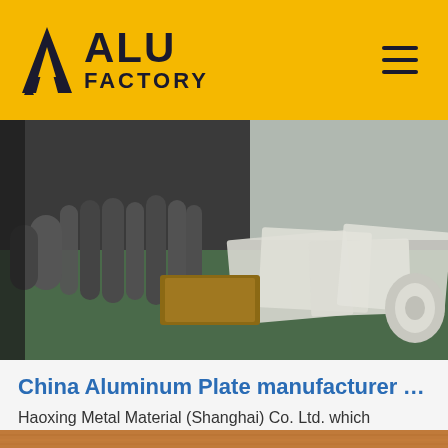ALU FACTORY
[Figure (photo): Workshop photo showing aluminum tubes, cylinders, and paper/foil rolls laid out on a green work surface table in a metal manufacturing facility]
China Aluminum Plate manufacturer Alumi...
Haoxing Metal Material (Shanghai) Co. Ltd. which belonge...
[Figure (other): Get Price button with border]
[Figure (logo): TOP badge icon with dotted arc above the word TOP in blue]
[Figure (photo): Wood grain texture strip at bottom of page]